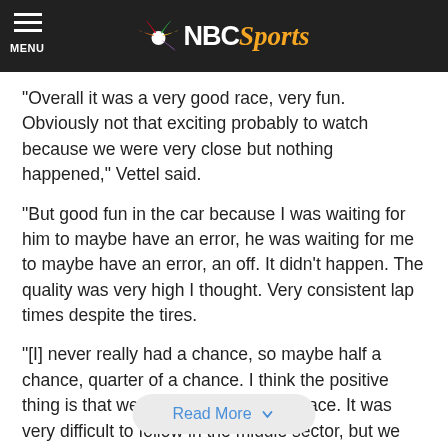NBC Sports
“Overall it was a very good race, very fun. Obviously not that exciting probably to watch because we were very close but nothing happened,” Vettel said.
“But good fun in the car because I was waiting for him to maybe have an error, he was waiting for me to maybe have an error, an off. It didn’t happen. The quality was very high I thought. Very consistent lap times despite the tires.
“[I] never really had a chance, so maybe half a chance, quarter of a chance. I think the positive thing is that we had very good race pace. It was very difficult to follow in the middle sector, but we stayed close, then we benefitted a little bit in the first and the last sector, but
Read More